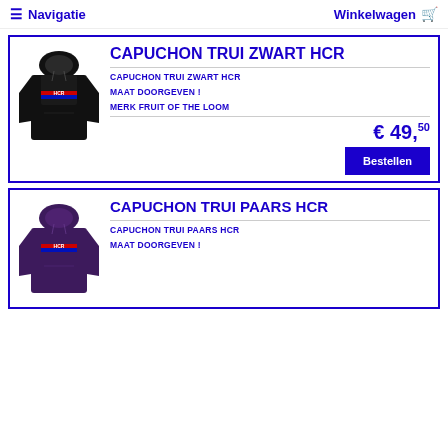≡ Navigatie   Winkelwagen 🛒
[Figure (photo): Black hoodie sweatshirt with HCR logo in red and blue stripes]
CAPUCHON TRUI ZWART HCR
CAPUCHON TRUI ZWART HCR
MAAT DOORGEVEN !
MERK FRUIT OF THE LOOM
€ 49,50
Bestellen
[Figure (photo): Purple hoodie sweatshirt with HCR logo in red and blue stripes]
CAPUCHON TRUI PAARS HCR
CAPUCHON TRUI PAARS HCR
MAAT DOORGEVEN !